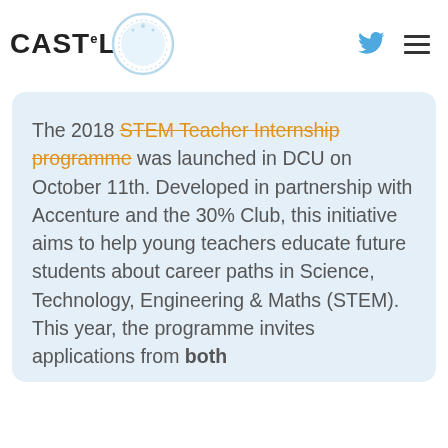[Figure (logo): CASTel logo with circular badge and text]
The 2018 STEM Teacher Internship programme was launched in DCU on October 11th. Developed in partnership with Accenture and the 30% Club, this initiative aims to help young teachers educate future students about career paths in Science, Technology, Engineering & Maths (STEM). This year, the programme invites applications from both